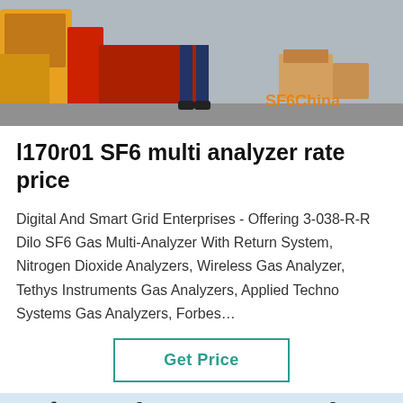[Figure (photo): Photo of a warehouse/logistics scene with yellow vehicle and cardboard boxes, with SF6China watermark in orange text]
l170r01 SF6 multi analyzer rate price
Digital And Smart Grid Enterprises - Offering 3-038-R-R Dilo SF6 Gas Multi-Analyzer With Return System, Nitrogen Dioxide Analyzers, Wireless Gas Analyzer, Tethys Instruments Gas Analyzers, Applied Techno Systems Gas Analyzers, Forbes…
Get Price
[Figure (photo): Photo of electrical power transmission towers and lines against sky, with a customer service representative avatar at the bottom center and a dark overlay bar at the bottom showing Leave Message and Chat Online buttons]